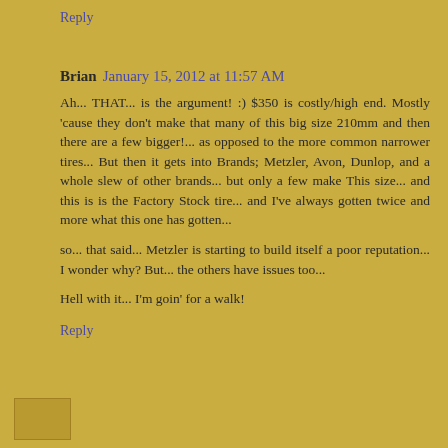Reply
Brian January 15, 2012 at 11:57 AM
Ah... THAT... is the argument! :) $350 is costly/high end. Mostly 'cause they don't make that many of this big size 210mm and then there are a few bigger!... as opposed to the more common narrower tires... But then it gets into Brands; Metzler, Avon, Dunlop, and a whole slew of other brands... but only a few make This size... and this is is the Factory Stock tire... and I've always gotten twice and more what this one has gotten...
so... that said... Metzler is starting to build itself a poor reputation... I wonder why? But... the others have issues too...
Hell with it... I'm goin' for a walk!
Reply